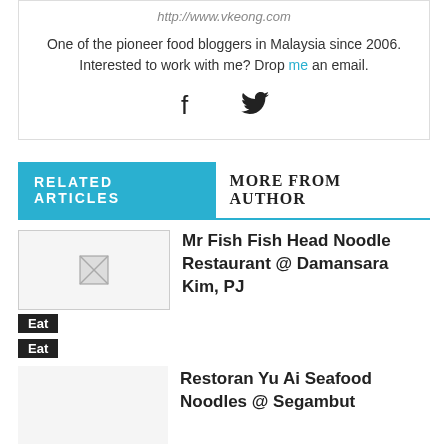http://www.vkeong.com
One of the pioneer food bloggers in Malaysia since 2006. Interested to work with me? Drop me an email.
[Figure (other): Social media icons: Facebook and Twitter]
RELATED ARTICLES   MORE FROM AUTHOR
[Figure (photo): Thumbnail image for Mr Fish Fish Head Noodle Restaurant article (broken image)]
Mr Fish Fish Head Noodle Restaurant @ Damansara Kim, PJ
Eat
Eat
Restoran Yu Ai Seafood Noodles @ Segambut
Eat
Goon Wah Restaurant (Claypot XO Fish Head Noodles) @ Kuchai Lama